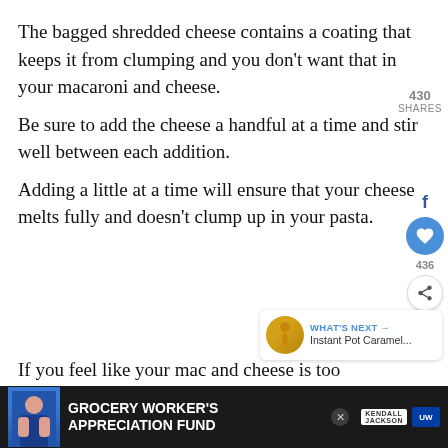The bagged shredded cheese contains a coating that keeps it from clumping and you don't want that in your macaroni and cheese.
Be sure to add the cheese a handful at a time and stir well between each addition.
Adding a little at a time will ensure that your cheese melts fully and doesn't clump up in your pasta.
If you feel like your mac and cheese is too
[Figure (screenshot): Grocery Worker's Appreciation Fund ad banner with person in blue apron, Kendall Jackson and United Way logos]
[Figure (infographic): Social sharing sidebar with Facebook icon, heart button showing 436, and share icon. Also shows What's Next: Instant Pot Caramel... with thumbnail. Share count 430 SHARES shown at top right.]